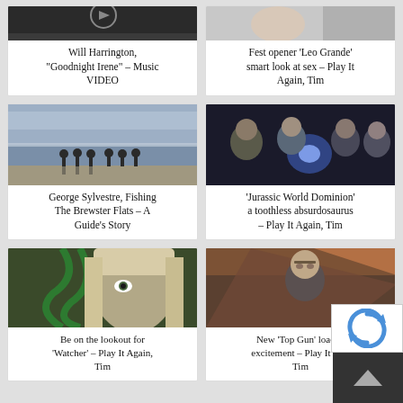[Figure (photo): Partial top image - dark scene, partially visible]
[Figure (photo): Partial top image - person in light scene, partially visible]
Will Harrington, “Goodnight Irene” – Music VIDEO
Fest opener ‘Leo Grande’ smart look at sex – Play It Again, Tim
[Figure (photo): People walking on a beach at low tide with dramatic sky]
[Figure (photo): Group of people in dark sci-fi setting with bright light - Jurassic World Dominion]
George Sylvestre, Fishing The Brewster Flats – A Guide’s Story
‘Jurassic World Dominion’ a toothless absurdosaurus – Play It Again, Tim
[Figure (photo): Blonde woman looking through green wire or ropes]
[Figure (photo): Man in action pose - Top Gun movie still]
Be on the lookout for ‘Watcher’ – Play It Again, Tim
New ‘Top Gun’ loaded excitement – Play It Again, Tim